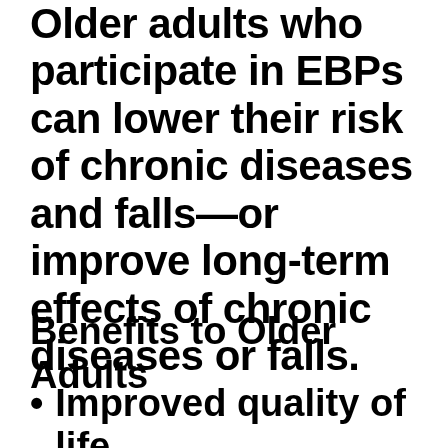Older adults who participate in EBPs can lower their risk of chronic diseases and falls—or improve long-term effects of chronic diseases or falls.
Benefits to Older Adults
Improved quality of life